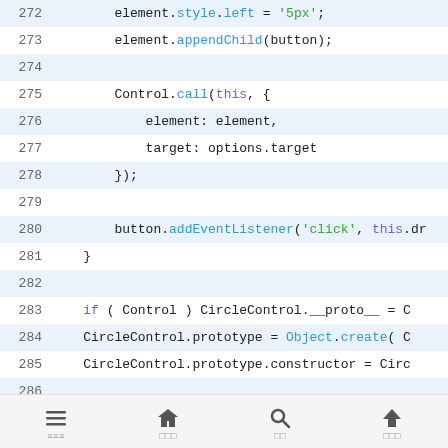[Figure (screenshot): Code editor screenshot showing JavaScript source code, lines 272-298, with syntax highlighting. Features JavaScript code for CircleControl and PolygonControl classes with prototype-based inheritance.]
Navigation bar with menu, home, search, and up icons